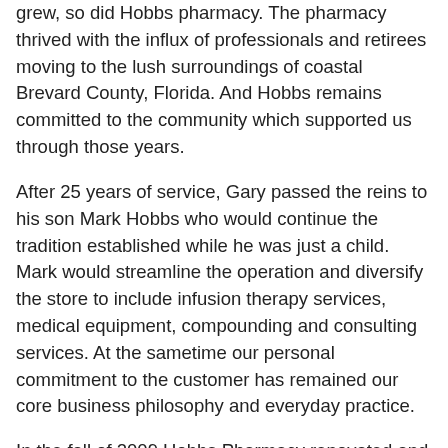grew, so did Hobbs pharmacy. The pharmacy thrived with the influx of professionals and retirees moving to the lush surroundings of coastal Brevard County, Florida. And Hobbs remains committed to the community which supported us through those years.
After 25 years of service, Gary passed the reins to his son Mark Hobbs who would continue the tradition established while he was just a child. Mark would streamline the operation and diversify the store to include infusion therapy services, medical equipment, compounding and consulting services. At the sametime our personal commitment to the customer has remained our core business philosophy and everyday practice.
In the fall of 2009 Hobbs Pharmacy renovated and expanded.
Hobbs is an exceptional example of a thriving independent pharmacy in a world of corporate